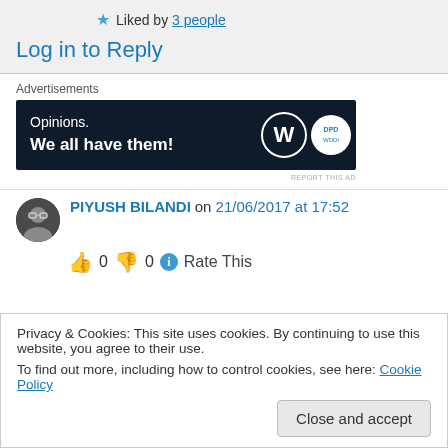Liked by 3 people
Log in to Reply
Advertisements
[Figure (infographic): Advertisement banner with dark navy background. Text: 'Opinions. We all have them!' with WordPress logo and another circular logo on the right.]
PIYUSH BILANDI on 21/06/2017 at 17:52
👍 0 👎 0 ℹ Rate This
Privacy & Cookies: This site uses cookies. By continuing to use this website, you agree to their use. To find out more, including how to control cookies, see here: Cookie Policy
Close and accept
perfectly shows about the qualities of a blog.